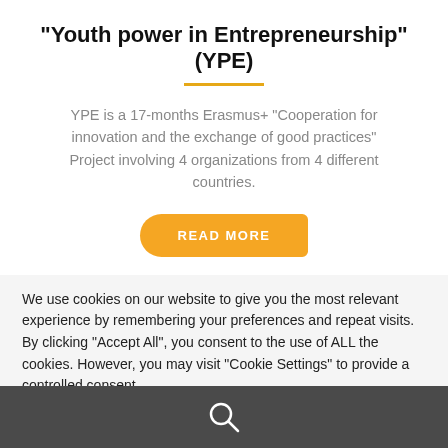“Youth power in Entrepreneurship” (YPE)
YPE is a 17-months Erasmus+ “Cooperation for innovation and the exchange of good practices” Project involving 4 organizations from 4 different countries.
READ MORE
We use cookies on our website to give you the most relevant experience by remembering your preferences and repeat visits. By clicking “Accept All”, you consent to the use of ALL the cookies. However, you may visit “Cookie Settings” to provide a controlled consent.
[Figure (other): Search icon (magnifying glass) on dark grey footer bar]